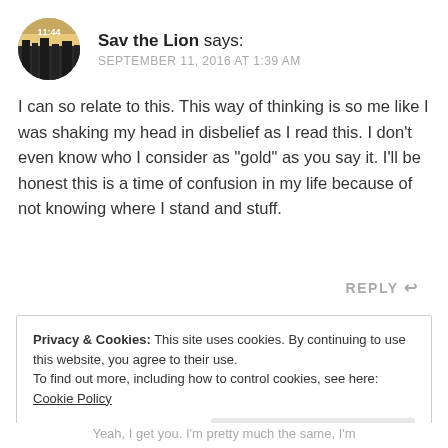[Figure (photo): Circular avatar image showing a landscape/cityscape with a clock reading 11:44, circular crop]
Sav the Lion says:
SEPTEMBER 11, 2016 AT 1:39 AM
I can so relate to this. This way of thinking is so me like I was shaking my head in disbelief as I read this. I don’t even know who I consider as “gold” as you say it. I’ll be honest this is a time of confusion in my life because of not knowing where I stand and stuff.
REPLY
Privacy & Cookies: This site uses cookies. By continuing to use this website, you agree to their use.
To find out more, including how to control cookies, see here: Cookie Policy
Close and accept
Yeah, I get you. I’m pretty much the same, I’m